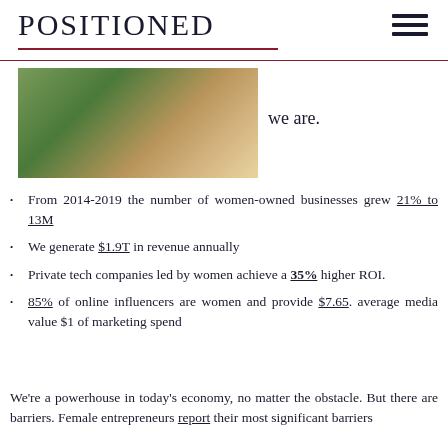POSITIONED
[Figure (photo): Photo of green plants/artichokes in a bowl on a wooden surface]
we are.
From 2014-2019 the number of women-owned businesses grew 21% to 13M
We generate $1.9T in revenue annually
Private tech companies led by women achieve a 35% higher ROI.
85% of online influencers are women and provide $7.65. average media value $1 of marketing spend
We're a powerhouse in today's economy, no matter the obstacle. But there are barriers. Female entrepreneurs report their most significant barriers